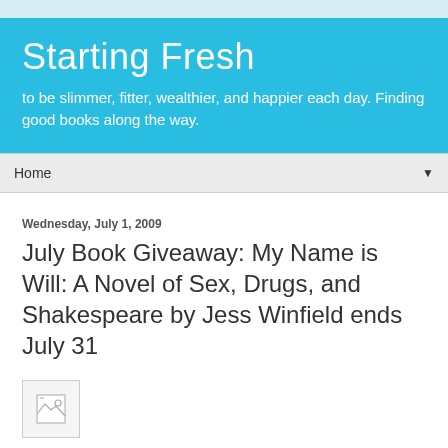Starting Fresh
to be slimmer, fitter, wealthier, and happier each day. Finding good books along the way.
Home
Wednesday, July 1, 2009
July Book Giveaway: My Name is Will: A Novel of Sex, Drugs, and Shakespeare by Jess Winfield ends July 31
[Figure (other): Broken image placeholder icon]